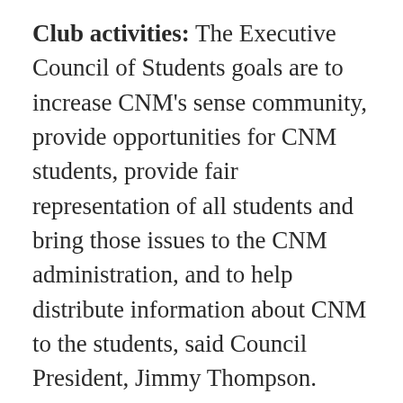Club activities: The Executive Council of Students goals are to increase CNM's sense community, provide opportunities for CNM students, provide fair representation of all students and bring those issues to the CNM administration, and to help distribute information about CNM to the students, said Council President, Jimmy Thompson.
Thompson is also hoping to provoke enough interest to support a CNMpics (CNM olympics) to host a series of events that are athletic, fun and all inclusive, he